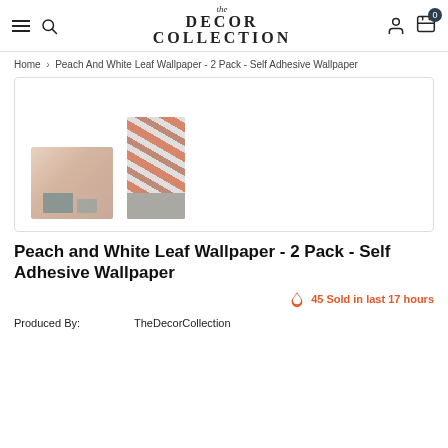the DECOR COLLECTION
Home > Peach And White Leaf Wallpaper - 2 Pack - Self Adhesive Wallpaper
[Figure (photo): Product gallery showing two thumbnails: left thumbnail shows a room scene with peach/white leaf wallpaper on walls, right thumbnail shows a vertical strip of the peach and white leaf wallpaper pattern against a gray background.]
Peach and White Leaf Wallpaper - 2 Pack - Self Adhesive Wallpaper
45 Sold in last 17 hours
Produced By: TheDecorCollection